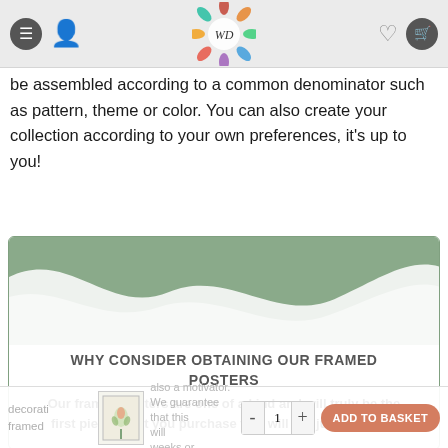WD - navigation header with menu, user, wishlist, cart icons
be assembled according to a common denominator such as pattern, theme or color. You can also create your collection according to your own preferences, it's up to you!
[Figure (illustration): Decorative card with sage green and white wave background, heading 'WHY CONSIDER OBTAINING OUR FRAMED POSTERS', and text about framed posters being one of a kind]
decorati [product thumbnail] also a motivator. We guarantee that this framed [quantity control] will [blank] ADD TO BASKET weeks or even months have passed. Our art is bound to be the...